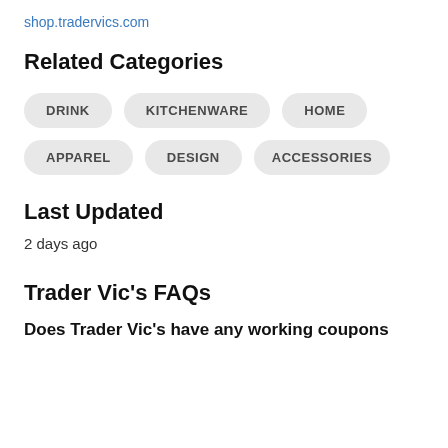shop.tradervics.com
Related Categories
DRINK
KITCHENWARE
HOME
APPAREL
DESIGN
ACCESSORIES
Last Updated
2 days ago
Trader Vic's FAQs
Does Trader Vic's have any working coupons